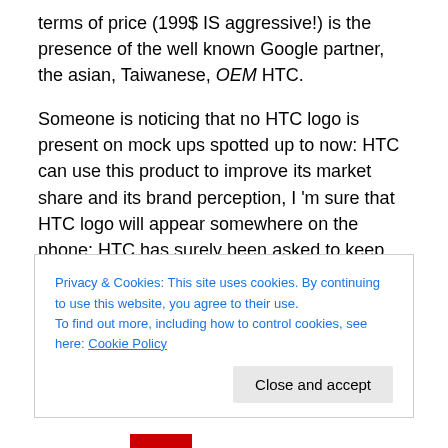terms of price (199$ IS aggressive!) is the presence of the well known Google partner, the asian, Taiwanese, OEM HTC.
Someone is noticing that no HTC logo is present on mock ups spotted up to now: HTC can use this product to improve its market share and its brand perception, I 'm sure that HTC logo will appear somewhere on the phone: HTC has surely been asked to keep the BOM low, I'm sure that they spent much effort on the project and seems strange not seeing its brand anyway on the product....but,
Privacy & Cookies: This site uses cookies. By continuing to use this website, you agree to their use.
To find out more, including how to control cookies, see here: Cookie Policy